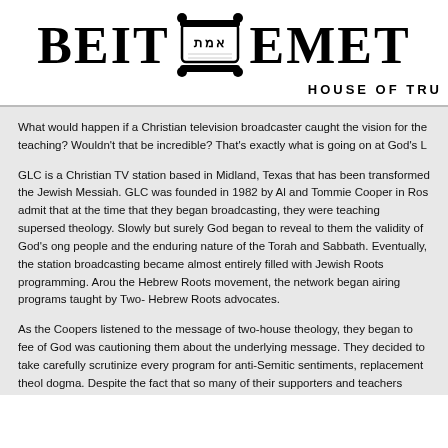[Figure (logo): Beit Emet - House of Truth logo with Torah scroll graphic and Hebrew text]
What would happen if a Christian television broadcaster caught the vision for the teaching? Wouldn't that be incredible? That's exactly what is going on at God's L
GLC is a Christian TV station based in Midland, Texas that has been transformed the Jewish Messiah. GLC was founded in 1982 by Al and Tommie Cooper in Ros admit that at the time that they began broadcasting, they were teaching supersed theology. Slowly but surely God began to reveal to them the validity of God's ong people and the enduring nature of the Torah and Sabbath. Eventually, the station broadcasting became almost entirely filled with Jewish Roots programming. Arou the Hebrew Roots movement, the network began airing programs taught by Two- Hebrew Roots advocates.
As the Coopers listened to the message of two-house theology, they began to fee of God was cautioning them about the underlying message. They decided to take carefully scrutinize every program for anti-Semitic sentiments, replacement theol dogma. Despite the fact that so many of their supporters and teachers adhered to